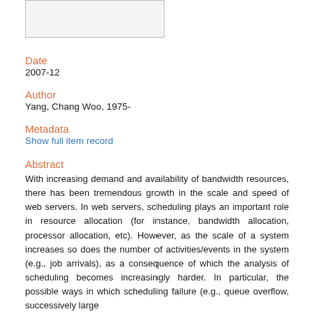[Figure (other): Thumbnail image box (partially visible at top of page)]
Date
2007-12
Author
Yang, Chang Woo, 1975-
Metadata
Show full item record
Abstract
With increasing demand and availability of bandwidth resources, there has been tremendous growth in the scale and speed of web servers. In web servers, scheduling plays an important role in resource allocation (for instance, bandwidth allocation, processor allocation, etc). However, as the scale of a system increases so does the number of activities/events in the system (e.g., job arrivals), as a consequence of which the analysis of scheduling becomes increasingly harder. In particular, the possible ways in which scheduling failure (e.g., queue overflow, successively large